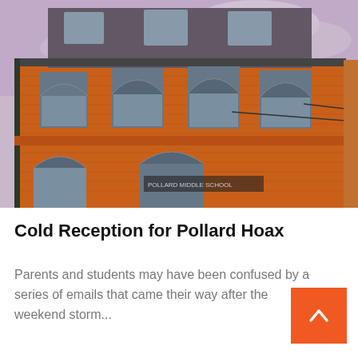[Figure (photo): Red brick school building with arched windows, photographed from a low angle against a cloudy sky]
Cold Reception for Pollard Hoax
Parents and students may have been confused by a series of emails that came their way after the weekend storm...